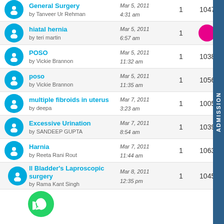General Surgery by Tanveer Ur Rehman | Mar 5, 2011 4:31 am | 1 | 10472
hiatal hernia by teri martin | Mar 5, 2011 6:57 am | 1
POSO by Vickie Brannon | Mar 5, 2011 11:32 am | 1 | 10380
poso by Vickie Brannon | Mar 5, 2011 11:35 am | 1 | 10568
multiple fibroids in uterus by deepa | Mar 7, 2011 3:23 am | 1 | 10053
Excessive Urination by SANDEEP GUPTA | Mar 7, 2011 8:54 am | 1 | 10397
Harnia by Reeta Rani Rout | Mar 7, 2011 11:44 am | 1 | 10638
ll Bladder's Laproscopic surgery by Rama Kant Singh | Mar 8, 2011 12:35 pm | 1 | 10451